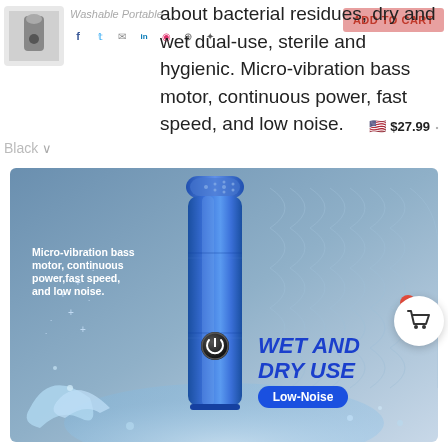Washable Portable
ADD TO CART
about bacterial residues, dry and wet dual-use, sterile and hygienic. Micro-vibration bass motor, continuous power, fast speed, and low noise.
$ 27.99
Black
[Figure (photo): Blue portable electric shaver/razor standing upright with water splashing around it. Text overlay reads: 'Micro-vibration bass motor, continuous power, fast speed, and low noise.' and 'WET AND DRY USE' with 'Low-Noise' badge.]